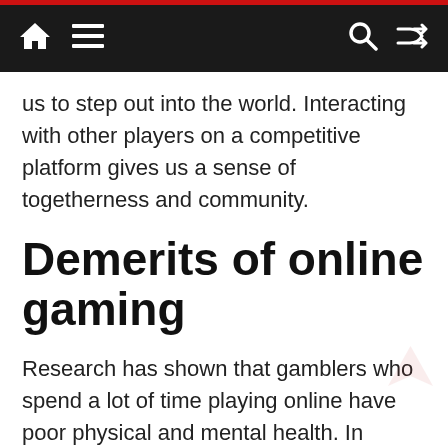Navigation bar with home, menu, search, and shuffle icons
us to step out into the world. Interacting with other players on a competitive platform gives us a sense of togetherness and community.
Demerits of online gaming
Research has shown that gamblers who spend a lot of time playing online have poor physical and mental health. In addition, they also suffer from the symptoms of depression and anxiety disorders. Addiction to these games can lead to high blood pressure and increased heart rate.
Competitive games are often lengthy and cause